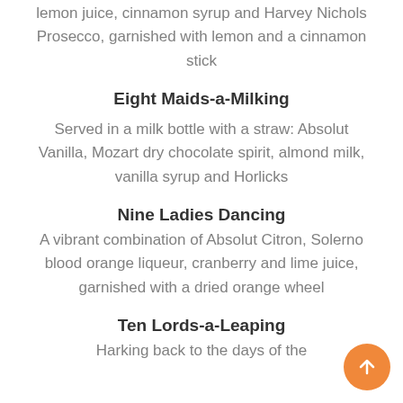lemon juice, cinnamon syrup and Harvey Nichols Prosecco, garnished with lemon and a cinnamon stick
Eight Maids-a-Milking
Served in a milk bottle with a straw: Absolut Vanilla, Mozart dry chocolate spirit, almond milk, vanilla syrup and Horlicks
Nine Ladies Dancing
A vibrant combination of Absolut Citron, Solerno blood orange liqueur, cranberry and lime juice, garnished with a dried orange wheel
Ten Lords-a-Leaping
Harking back to the days of the